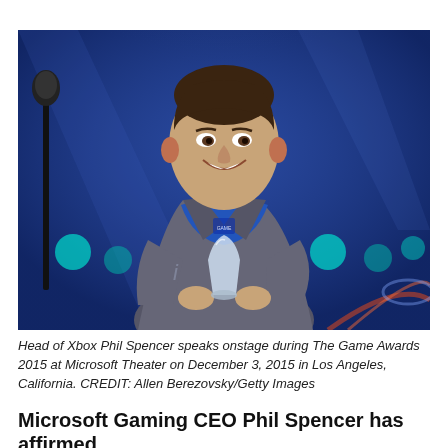[Figure (photo): Phil Spencer, Head of Xbox, standing on stage holding a trophy/award at The Game Awards 2015 at Microsoft Theater. He is wearing a gray blazer over a blue t-shirt. The background features blue stage lighting with teal and white circular lights.]
Head of Xbox Phil Spencer speaks onstage during The Game Awards 2015 at Microsoft Theater on December 3, 2015 in Los Angeles, California. CREDIT: Allen Berezovsky/Getty Images
Microsoft Gaming CEO Phil Spencer has affirmed